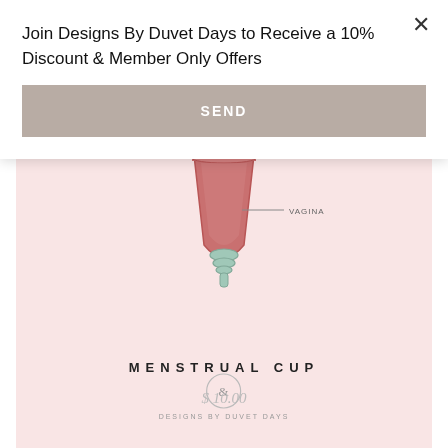Join Designs By Duvet Days to Receive a 10% Discount & Member Only Offers
SEND
[Figure (illustration): Menstrual cup diagram illustration on pink background showing a menstrual cup inserted in vagina with label 'VAGINA' and Designs By Duvet Days logo at bottom]
MENSTRUAL CUP
$ 10.00